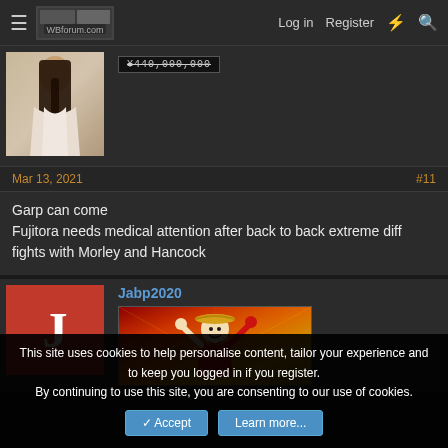≡  [site logo]   Log in   Register   ⚡   🔍
[Figure (photo): Woman with long dark hair wearing a white/cream blouse, portrait photo used as forum avatar]
¥440,000,000
Mar 13, 2021
#11
Garp can come
Fujitora needs medical attention after back to back extreme diff fights with Morley and Hancock
Jabp2020
[Figure (photo): Anime character (Luffy from One Piece) with straw hat, red vest, arms raised, manga/anime art style]
This site uses cookies to help personalise content, tailor your experience and to keep you logged in if you register.
By continuing to use this site, you are consenting to our use of cookies.
Accept
Learn more...